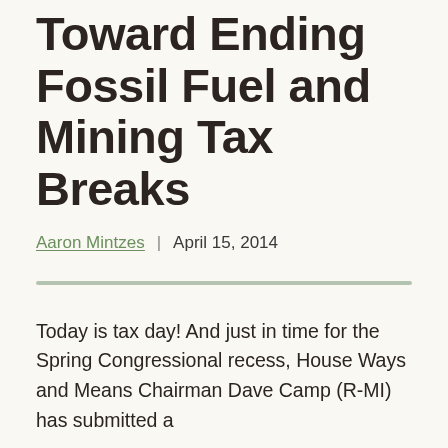Takes Step Toward Ending Fossil Fuel and Mining Tax Breaks
Aaron Mintzes  |  April 15, 2014
Today is tax day! And just in time for the Spring Congressional recess, House Ways and Means Chairman Dave Camp (R-MI) has submitted a